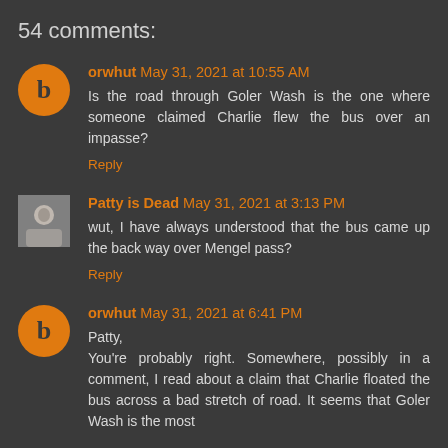54 comments:
orwhut May 31, 2021 at 10:55 AM
Is the road through Goler Wash is the one where someone claimed Charlie flew the bus over an impasse?
Reply
Patty is Dead May 31, 2021 at 3:13 PM
wut, I have always understood that the bus came up the back way over Mengel pass?
Reply
orwhut May 31, 2021 at 6:41 PM
Patty,
You're probably right. Somewhere, possibly in a comment, I read about a claim that Charlie floated the bus across a bad stretch of road. It seems that Goler Wash is the most